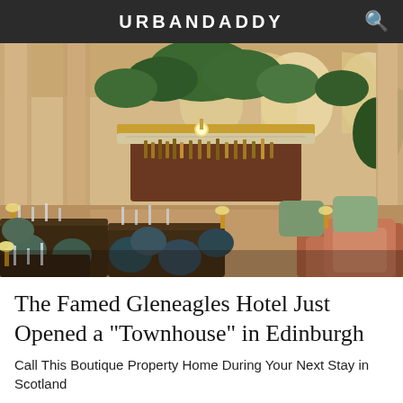URBANDADDY
[Figure (photo): Interior of a luxurious restaurant/bar with teal and sage velvet chairs, leather seating, dark wood tables set with glassware, a grand curved bar with marble countertop and gold accents, tall columns, arched windows, and lush tropical plants overhead.]
The Famed Gleneagles Hotel Just Opened a "Townhouse" in Edinburgh
Call This Boutique Property Home During Your Next Stay in Scotland